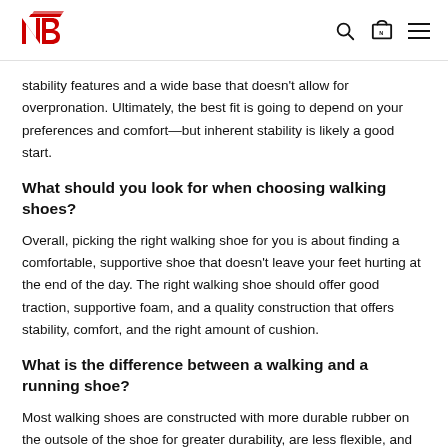New Balance logo, search icon, cart icon, menu icon
stability features and a wide base that doesn't allow for overpronation. Ultimately, the best fit is going to depend on your preferences and comfort—but inherent stability is likely a good start.
What should you look for when choosing walking shoes?
Overall, picking the right walking shoe for you is about finding a comfortable, supportive shoe that doesn't leave your feet hurting at the end of the day. The right walking shoe should offer good traction, supportive foam, and a quality construction that offers stability, comfort, and the right amount of cushion.
What is the difference between a walking and a running shoe?
Most walking shoes are constructed with more durable rubber on the outsole of the shoe for greater durability, are less flexible, and are typically more firm underfoot. Running shoes are designed to be lighter, more flexible, and cushion more